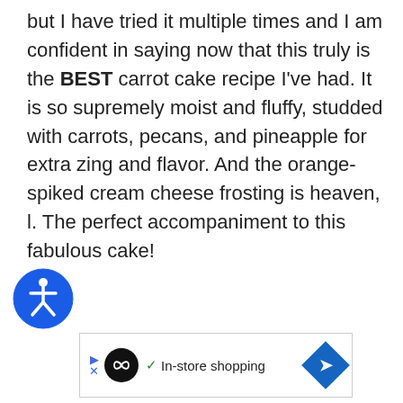but I have tried it multiple times and I am confident in saying now that this truly is the BEST carrot cake recipe I've had. It is so supremely moist and fluffy, studded with carrots, pecans, and pineapple for extra zing and flavor. And the orange-spiked cream cheese frosting is heaven, l. The perfect accompaniment to this fabulous cake!
[Figure (illustration): Blue circle accessibility icon with white person figure (wheelchair accessibility symbol)]
[Figure (infographic): Advertisement banner: left arrow icon, black circle logo with infinity symbol, green checkmark, 'In-store shopping' text, blue diamond with arrow pointing right]